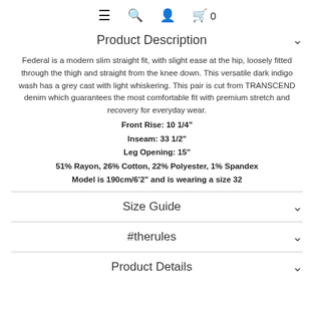≡ 🔍 👤 🛍 0
Product Description
Federal is a modern slim straight fit, with slight ease at the hip, loosely fitted through the thigh and straight from the knee down. This versatile dark indigo wash has a grey cast with light whiskering. This pair is cut from TRANSCEND denim which guarantees the most comfortable fit with premium stretch and recovery for everyday wear.
Front Rise: 10 1/4"
Inseam: 33 1/2"
Leg Opening: 15"
51% Rayon, 26% Cotton, 22% Polyester, 1% Spandex
Model is 190cm/6'2" and is wearing a size 32
Size Guide
#therules
Product Details